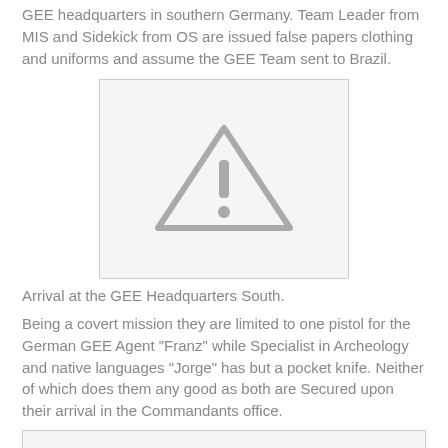GEE headquarters in southern Germany. Team Leader from MIS and Sidekick from OS are issued false papers clothing and uniforms and assume the GEE Team sent to Brazil.
[Figure (illustration): Placeholder image with warning triangle icon indicating missing or unavailable image]
Arrival at the GEE Headquarters South.
Being a covert mission they are limited to one pistol for the German GEE Agent "Franz" while Specialist in Archeology and native languages "Jorge" has but a pocket knife. Neither of which does them any good as both are Secured upon their arrival in the Commandants office.
[Figure (illustration): Placeholder image at the bottom of the page]